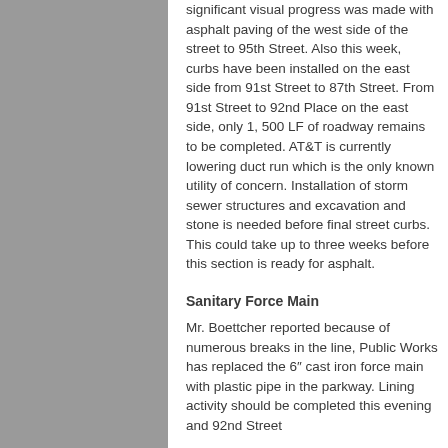significant visual progress was made with asphalt paving of the west side of the street to 95th Street. Also this week, curbs have been installed on the east side from 91st Street to 87th Street. From 91st Street to 92nd Place on the east side, only 1, 500 LF of roadway remains to be completed. AT&T is currently lowering duct run which is the only known utility of concern. Installation of storm sewer structures and excavation and stone is needed before final street curbs. This could take up to three weeks before this section is ready for asphalt.
Sanitary Force Main
Mr. Boettcher reported because of numerous breaks in the line, Public Works has replaced the 6" cast iron force main with plastic pipe in the parkway. Lining activity should be completed this evening and 92nd Street